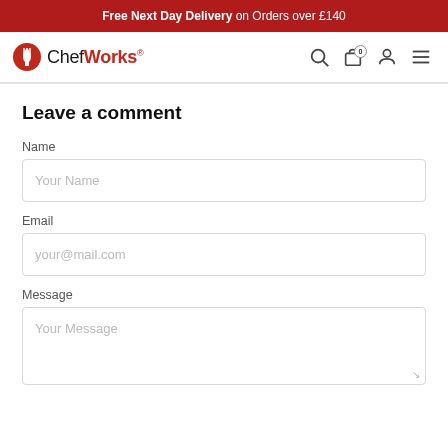Free Next Day Delivery on Orders over £140
[Figure (logo): Chef Works logo with red fork icon and red/black wordmark]
Leave a comment
Name
Your Name
Email
your@mail.com
Message
Your Message